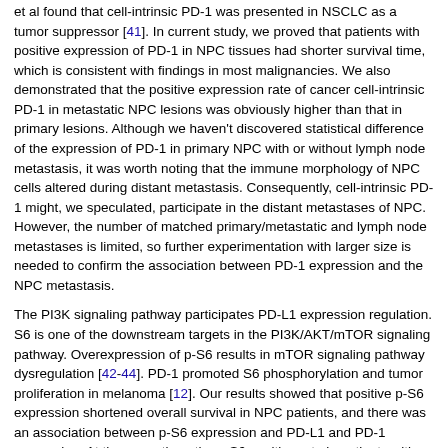et al found that cell-intrinsic PD-1 was presented in NSCLC as a tumor suppressor [41]. In current study, we proved that patients with positive expression of PD-1 in NPC tissues had shorter survival time, which is consistent with findings in most malignancies. We also demonstrated that the positive expression rate of cancer cell-intrinsic PD-1 in metastatic NPC lesions was obviously higher than that in primary lesions. Although we haven't discovered statistical difference of the expression of PD-1 in primary NPC with or without lymph node metastasis, it was worth noting that the immune morphology of NPC cells altered during distant metastasis. Consequently, cell-intrinsic PD-1 might, we speculated, participate in the distant metastases of NPC. However, the number of matched primary/metastatic and lymph node metastases is limited, so further experimentation with larger size is needed to confirm the association between PD-1 expression and the NPC metastasis.
The PI3K signaling pathway participates PD-L1 expression regulation. S6 is one of the downstream targets in the PI3K/AKT/mTOR signaling pathway. Overexpression of p-S6 results in mTOR signaling pathway dysregulation [42-44]. PD-1 promoted S6 phosphorylation and tumor proliferation in melanoma [12]. Our results showed that positive p-S6 expression shortened overall survival in NPC patients, and there was an association between p-S6 expression and PD-L1 and PD-1 expression. At the same time, the p-S6 positive rate in patients with co-expression of PD-L1 and PD-1 was significantly higher than other patients. Hence, we speculated that PD-1 might also play an encouraging role in S6 phosphorylation in NPC. In conclusion, expression of cancer cell-intrinsic PD-1, PD-L1, co-expression of PD-L1 and PD-1 and p-S6 are correlational, especially between PD-1 and combined PD-L1 and PD-1 expression. However, these need to be further verified by in vitro and in vivo study in the future experiments.